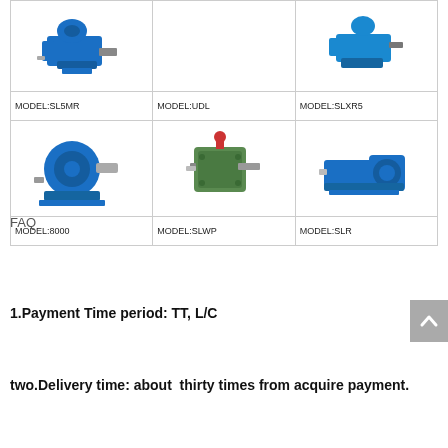[Figure (table-as-image): Product model table with 6 gearbox/motor product images (SL5MR, UDL, SLXR5, 8000, SLWP, SLR) arranged in 2 rows of 3 columns, each with a photo and model label.]
FAQ
1.Payment Time period: TT, L/C
two.Delivery time: about  thirty times from acquire payment.